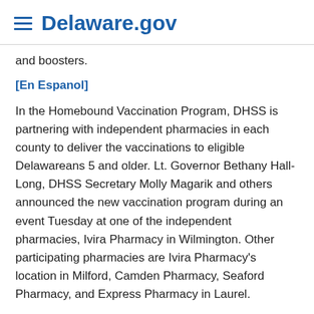Delaware.gov
and boosters.
[En Espanol]
In the Homebound Vaccination Program, DHSS is partnering with independent pharmacies in each county to deliver the vaccinations to eligible Delawareans 5 and older. Lt. Governor Bethany Hall-Long, DHSS Secretary Molly Magarik and others announced the new vaccination program during an event Tuesday at one of the independent pharmacies, Ivira Pharmacy in Wilmington. Other participating pharmacies are Ivira Pharmacy's location in Milford, Camden Pharmacy, Seaford Pharmacy, and Express Pharmacy in Laurel.
“Nothing is more important than getting more Delawareans vaccinated,” Lt. Governor Bethany Hall-Long said. “As a state, we are committed to removing as